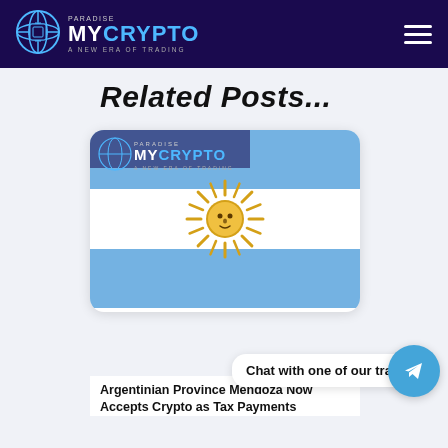MyCrypto Paradise – A New Era of Trading
Related Posts...
[Figure (illustration): Argentine flag with light blue and white horizontal stripes and a golden Sun of May in the center, inside a rounded card. The card also shows the MyCrypto Paradise logo at the top.]
Chat with one of our traders
Argentinian Province Mendoza Now Accepts Crypto as Tax Payments